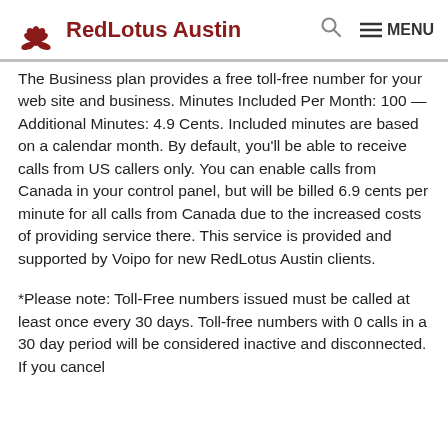RedLotus Austin
The Business plan provides a free toll-free number for your web site and business. Minutes Included Per Month: 100 — Additional Minutes: 4.9 Cents. Included minutes are based on a calendar month. By default, you'll be able to receive calls from US callers only. You can enable calls from Canada in your control panel, but will be billed 6.9 cents per minute for all calls from Canada due to the increased costs of providing service there. This service is provided and supported by Voipo for new RedLotus Austin clients.
*Please note: Toll-Free numbers issued must be called at least once every 30 days. Toll-free numbers with 0 calls in a 30 day period will be considered inactive and disconnected. If you cancel